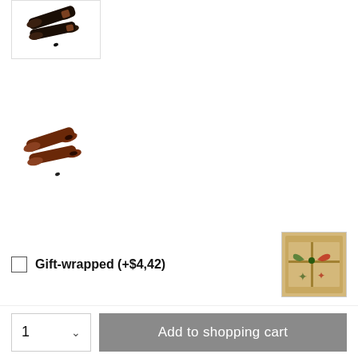[Figure (photo): Thumbnail of dark/black cylindrical tubes product]
[Figure (photo): Thumbnail of brown/dark red cylindrical tubes product]
Gift-wrapped (+$4,42)
[Figure (photo): Gift-wrapped package image showing a wrapped item with colorful ribbons]
Remember★ Comment
SKU: 2G50-26-21-c4
1
Add to shopping cart